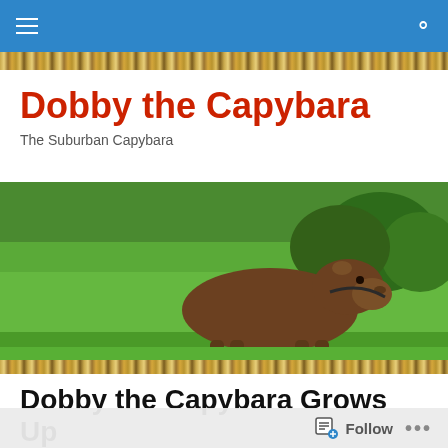Navigation bar with menu and search icons
[Figure (illustration): Decorative fur/animal print strip banner]
Dobby the Capybara
The Suburban Capybara
[Figure (photo): A capybara standing on green grass lawn with trees in background]
[Figure (illustration): Decorative fur/animal print strip banner]
Dobby the Capybara Grows Up
[Figure (photo): Partial view of a person with long white/grey hair outdoors near a building]
Follow   ...